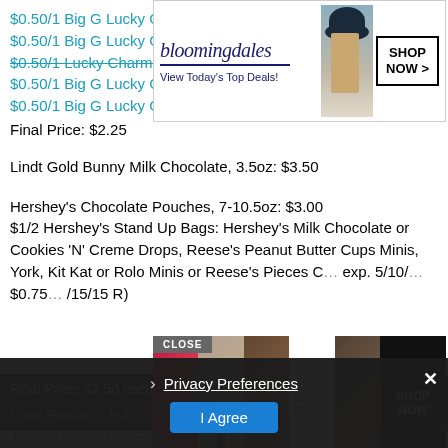[Figure (screenshot): Bloomingdale's advertisement banner: brand name in serif font with underline, tagline 'View Today's Top Deals!', model photo with wide-brim hat, SHOP NOW > button in bordered box]
$0.50/1 Big G Lucky Charms Cereal printable
$0.50/1 Big G Lucky Charms Cereal printable
$0.50/1 Big G Lucky Charms Cereal printable
Final Price: $2.25
Lindt Gold Bunny Milk Chocolate, 3.5oz: $3.50
Hershey’s Chocolate Pouches, 7-10.5oz: $3.00
$1/2 Hershey’s Stand Up Bags: Hershey’s Milk Chocolate or Cookies ‘N’ Creme Drops, Reese’s Peanut Butter Cups Minis, York, Kit Kat or Rolo Minis or Reese’s Pieces C… exp. 5/10/…
$0.75… /15/15 R)
[Figure (screenshot): ULTA beauty advertisement overlay with close button, five beauty images (lips, makeup brush, eye, ULTA logo, eye makeup), and SHOP NOW button on dark background]
Final Price: $2.50 each wyb 2
Coke Products, 6pk…
Quaker Cereals, 12.5-14… Bars, 6.1-8.7oz, Smart Sense Apple Juice, 64oz, or Fruit Punch, 128oz: $2.00
Privacy Preferences
I Agree